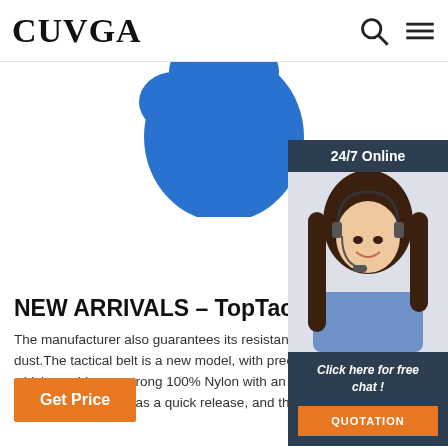CUVGA
[Figure (illustration): Blue blob/shape partially visible at top center of page]
NEW ARRIVALS – TopTacticalGe...
The manufacturer also guarantees its resistance to s... dust.The tactical belt is a new model, with precise w... which combines a strong 100% Nylon with an FC45 ... tactical belt buckle has a quick release, and the belt ...
[Figure (photo): Right side panel showing a woman with headset, 24/7 Online customer support widget with 'Click here for free chat!' text and QUOTATION button]
Get Price